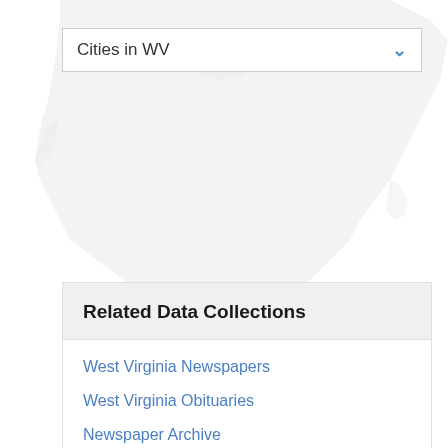[Figure (map): Faded light-gray outline map of the continental United States, partially visible at the top of the page]
Cities in WV
Related Data Collections
West Virginia Newspapers
West Virginia Obituaries
Newspaper Archive
Newspaper Obituaries
1820 U.S. Federal Census Records